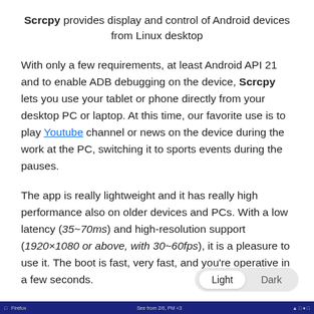Scrcpy provides display and control of Android devices from Linux desktop
With only a few requirements, at least Android API 21 and to enable ADB debugging on the device, Scrcpy lets you use your tablet or phone directly from your desktop PC or laptop. At this time, our favorite use is to play Youtube channel or news on the device during the work at the PC, switching it to sports events during the pauses.
The app is really lightweight and it has really high performance also on older devices and PCs. With a low latency (35~70ms) and high-resolution support (1920×1080 or above, with 30~60fps), it is a pleasure to use it. The boot is fast, very fast, and you're operative in a few seconds.
[Figure (screenshot): A dark taskbar / bottom bar from a desktop environment]